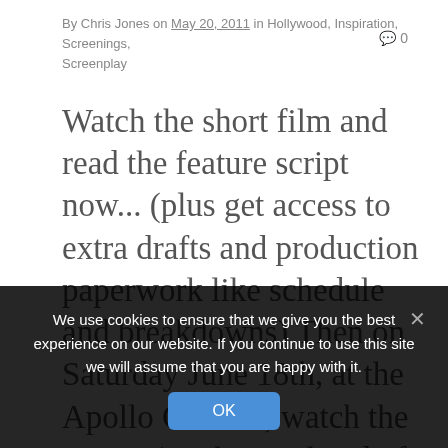By Chris Jones on May 20, 2011 in Hollywood, Inspiration, Screenings, Screenplay   💬 0
Watch the short film and read the feature script now... (plus get access to extra drafts and production paperwork like schedule and breakdowns) Then on Saturday June 18th, at the Apollo Cinema, watch the movie (on the weekend of its 200 screen release), followed by a 2 hour seminar with Writer/Director Jonathan Newman. Finally, [...]
We use cookies to ensure that we give you the best experience on our website. If you continue to use this site we will assume that you are happy with it.